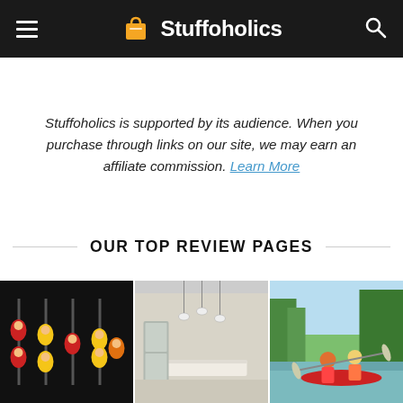Stuffoholics
Stuffoholics is supported by its audience. When you purchase through links on our site, we may earn an affiliate commission. Learn More
OUR TOP REVIEW PAGES
[Figure (photo): Three side-by-side images: foosball table with colorful player figures on dark background; modern kitchen interior with pendant lights and island; two people kayaking outdoors]